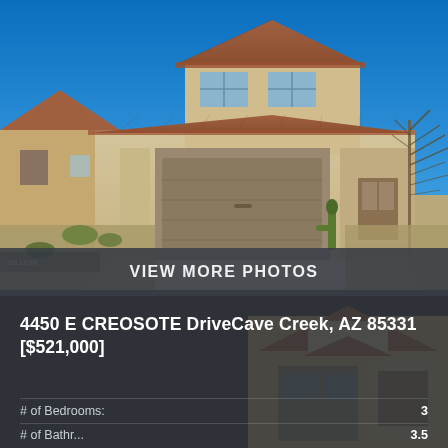[Figure (photo): Two-story tan/beige stucco house with two-car garage, red tile roof, desert landscaping with gravel, cacti, and sparse shrubs, blue sky background. This is a real estate listing photo.]
VIEW MORE PHOTOS
4450 E CREOSOTE DriveCave Creek, AZ 85331
[$521,000]
# of Bedrooms: 3
# of Bathr... 3.5